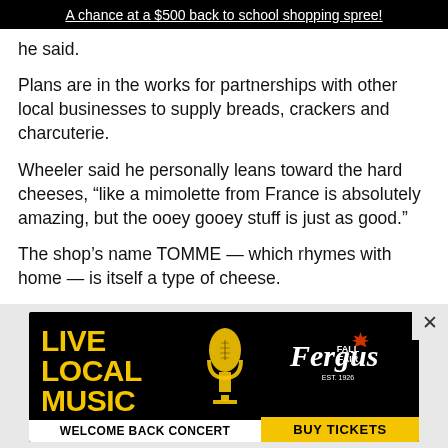A chance at a $500 back to school shopping spree!
he said.
Plans are in the works for partnerships with other local businesses to supply breads, crackers and charcuterie.
Wheeler said he personally leans toward the hard cheeses, “like a mimolette from France is absolutely amazing, but the ooey gooey stuff is just as good.”
The shop’s name TOMME — which rhymes with home — is itself a type of cheese.
Wheeler said the shop will feature cheeses from far and wide, but he is especially interested in showcasin…
[Figure (infographic): Advertisement banner for Fergus Fall Fair featuring 'LIVE LOCAL MUSIC - WELCOME BACK CONCERT' on a black background with yellow text and a microphone graphic, alongside the Fergus Fall Fair logo and a 'BUY TICKETS' button in yellow.]